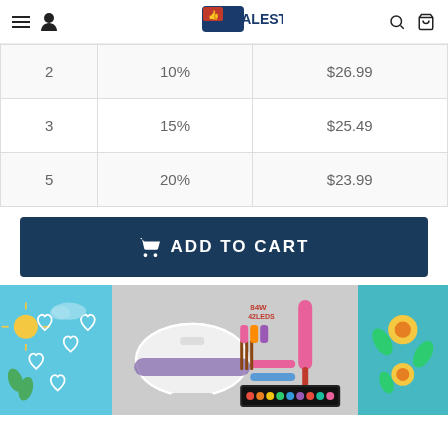ISALESTUFF2
| 2 | 10% | $26.99 |
| 3 | 15% | $25.49 |
| 5 | 20% | $23.99 |
ADD TO CART
[Figure (photo): Three product images side by side: a light blue illustration with hearts and sun, a nail art kit with UV lamp and accessories, and a teal floral pattern]